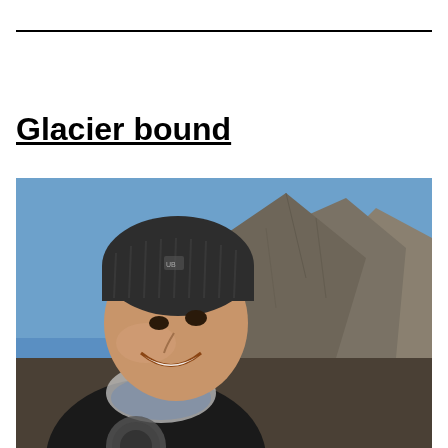Glacier bound
[Figure (photo): A smiling man wearing a dark knit beanie and a black jacket with a paisley bandana around his neck, photographed outdoors with a clear blue sky and rugged rocky mountain peaks in the background.]